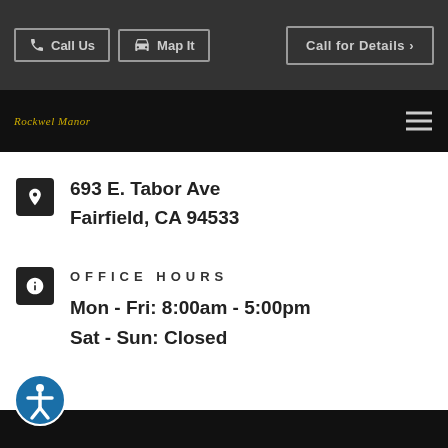Call Us  Map It  Call for Details >
Rockwel Manor
693 E. Tabor Ave
Fairfield, CA 94533
OFFICE HOURS
Mon - Fri: 8:00am - 5:00pm
Sat - Sun: Closed